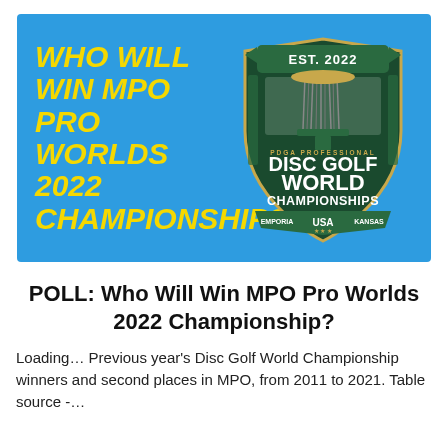[Figure (illustration): Blue banner graphic with yellow bold italic text reading 'WHO WILL WIN MPO PRO WORLDS 2022 CHAMPIONSHIP?' on the left, and the PDGA Professional Disc Golf World Championships 2022 logo on the right (shield shape with disc golf basket image, text: PDGA PROFESSIONAL DISC GOLF WORLD CHAMPIONSHIPS, EMPORIA, USA, KANSAS, EST. 2022)]
POLL: Who Will Win MPO Pro Worlds 2022 Championship?
Loading... Previous year's Disc Golf World Championship winners and second places in MPO, from 2011 to 2021. Table source -...